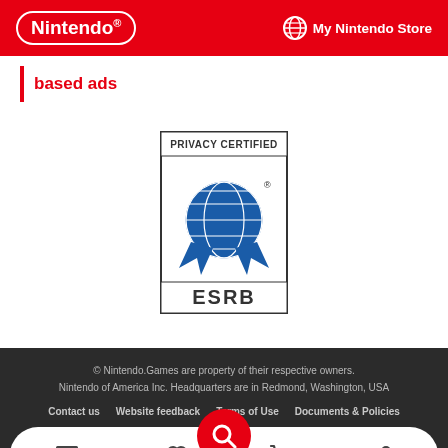Nintendo | My Nintendo Store
based ads
[Figure (logo): ESRB Privacy Certified badge with globe and ribbon icon]
© Nintendo.Games are property of their respective owners. Nintendo of America Inc. Headquarters are in Redmond, Washington, USA
Contact us  Website feedback  Terms of Use  Documents & Policies